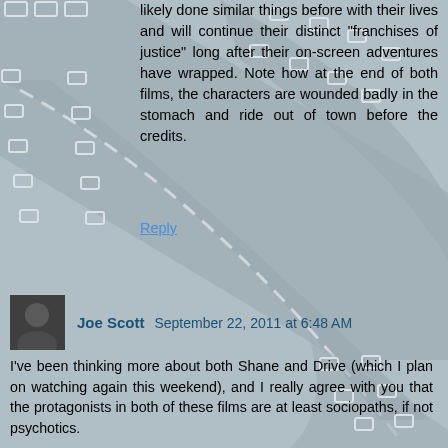likely done similar things before with their lives and will continue their distinct "franchises of justice" long after their on-screen adventures have wrapped. Note how at the end of both films, the characters are wounded badly in the stomach and ride out of town before the credits.
Reply
Joe Scott  September 22, 2011 at 6:48 AM
I've been thinking more about both Shane and Drive (which I plan on watching again this weekend), and I really agree with you that the protagonists in both of these films are at least sociopaths, if not psychotics.
Within the text of "Drive," there is a lot of evidence that Driver is not all there. Many critics have regarded him as a cypher, but he's much more than that. Aside from the overt evidence during the scene where he stomps a man to death and impales another man with a shower curtain rod, look at the scene where he meets the aptly named "Standard." In a conventional movie peopled with conventional (read: sane) characters, there would have